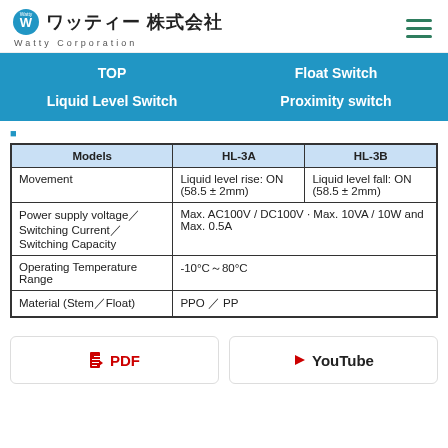ワッティー 株式会社 / Watty Corporation
TOP | Float Switch | Liquid Level Switch | Proximity switch
| Models | HL-3A | HL-3B |
| --- | --- | --- |
| Movement | Liquid level rise: ON (58.5 ± 2mm) | Liquid level fall: ON (58.5 ± 2mm) |
| Power supply voltage／Switching Current／Switching Capacity | Max. AC100V / DC100V · Max. 10VA / 10W and Max. 0.5A |  |
| Operating Temperature Range | -10°C～80°C |  |
| Material (Stem／Float) | PPO ／ PP |  |